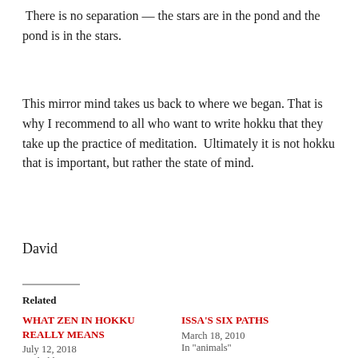There is no separation — the stars are in the pond and the pond is in the stars.
This mirror mind takes us back to where we began. That is why I recommend to all who want to write hokku that they take up the practice of meditation. Ultimately it is not hokku that is important, but rather the state of mind.
David
Related
WHAT ZEN IN HOKKU REALLY MEANS
July 12, 2018
In "hokku"
ISSA'S SIX PATHS
March 18, 2010
In "animals"